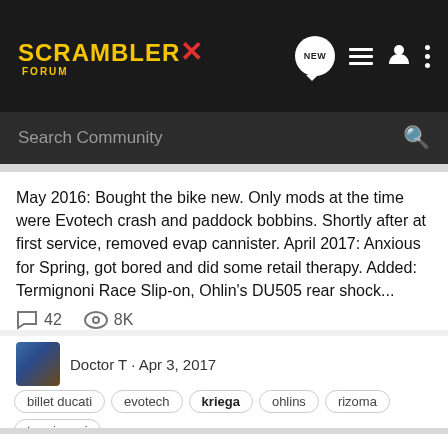SCRAMBLER X FORUM
Search Community
May 2016: Bought the bike new. Only mods at the time were Evotech crash and paddock bobbins. Shortly after at first service, removed evap cannister. April 2017: Anxious for Spring, got bored and did some retail therapy. Added: Termignoni Race Slip-on, Ohlin's DU505 rear shock...
42  8K
Doctor T · Apr 3, 2017
billet ducati  evotech  kriega  ohlins  rizoma  termignoni
Has anyone ordered the new Kriega saddlebag mounts yet?
Scrambler Gear & Accessories